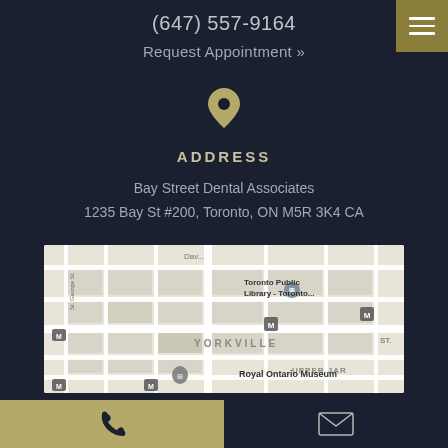(647) 557-9164
Request Appointment »
[Figure (illustration): Gold location pin icon]
ADDRESS
Bay Street Dental Associates
1235 Bay St #200, Toronto, ON M5R 3K4 CA
[Figure (map): Google Maps screenshot showing Yorkville area of Toronto, with Toronto Public Library, Royal Ontario Museum, and Upper Jarvis visible]
[Figure (illustration): Phone icon on gold background (bottom left) and envelope icon on dark background (bottom right)]